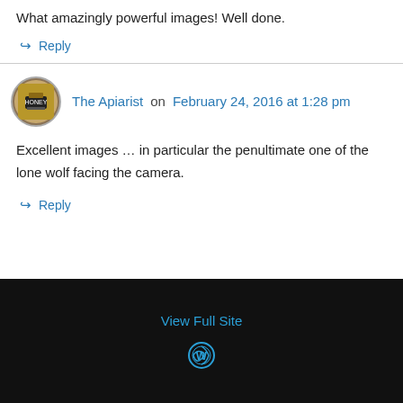What amazingly powerful images! Well done.
↳ Reply
The Apiarist on February 24, 2016 at 1:28 pm
Excellent images … in particular the penultimate one of the lone wolf facing the camera.
↳ Reply
View Full Site